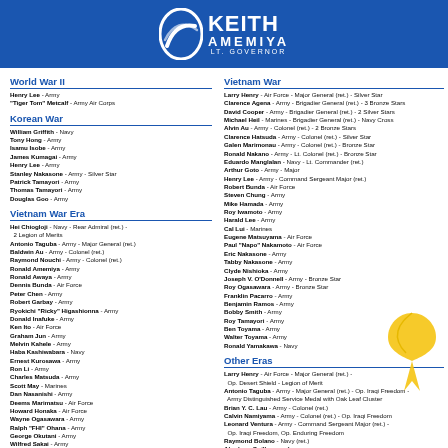Keith Amemiya Lt. Governor
World War II
Henry Lee - Army
"Tiger Tom" Metcalf - Army Air Corps
Korean War
William Griffith - Navy
Tony Hong - Army
Isamu Isobe - Army
James Kumagai - Army
Henry Lee - Army
Stanley Nakasone - Army - Silver Star
Patrick Tamayori - Army
Thomas Tamayori - Army
Douglas Goo - Army
Vietnam War Era
Hei Chiogloji - Navy - Rear Admiral (ret.) - 2 Legion of Merits
Antonio Taguba - Army - Major General (ret.)
Baldwin Au - Army - Colonel (ret.)
Raymond Nouchi - Army - Colonel (ret.)
Ronald Amemiya - Army
Ronald Awaya - Army
Dennis Bunda - Air Force
Peter Chen - Army
Robert Garbay - Army
Ryokichi "Ricky" Higashionna - Army
Donald Inafuke - Army
Ken Ito - Air Force
Graham Jun - Army
Melvin Kahele - Army
Haba Kashiwabara - Navy
Ernest Kurosawa - Army
Ron Li - Army
Charles Matsuda - Army
Scott May - Marines
Dan Nasanishi - Army
Deems Marimatsu - Air Force
Howard Honaka - Air Force
Wayne Ogasawara - Army
Ralph "FHI" Ohana - Army
George Okutani - Army
Wilfred Sakai - Army
Naona K. Sanders - Air Force (ret.)
Andrew Tamori - Army
Hako Toshima - Army
Steven Tsugawa - Navy
Bonifacio Urian - Air Force
Alex Uyeda - Army
Vietnam War
Larry Henry - Air Force - Major General (ret.) - Silver Star
Clarence Agena - Army - Brigadier General (ret.) - 3 Bronze Stars
David Cooper - Army - Brigadier General (ret.) - 2 Silver Stars
Michael Heil - Marines - Brigadier General (ret.) - Navy Cross
Alvin Au - Army - Colonel (ret.) - 2 Bronze Stars
Clarence Hatsuda - Army - Colonel (ret.) - Silver Star
Galen Marimonau - Army - Colonel (ret.) - Bronze Star
Ronald Nakano - Army - Lt. Colonel (ret.) - Bronze Star
Eduardo Manglalan - Navy - Lt. Commander (ret.)
Arthur Goto - Army - Major
Henry Lee - Army - Command Sergeant Major (ret.)
Robert Bunda - Air Force
Steven Chung - Army
Mike Hamada - Army
Roy Iwamoto - Army
Harald Lee - Army
Cal Lui - Marines
Eugene Matsuyama - Air Force
Paul "Napo" Nakamoto - Air Force
Eric Nakasone - Army
Tabby Nakasone - Army
Clyde Nishioka - Army
Joseph V. O'Donnell - Army - Bronze Star
Roy Ogasawara - Army - Bronze Star
Franklin Pacarro - Army
Benjamin Ramos - Army
Bobby Smith - Army
Roy Tamayori - Army
Ben Toyama - Army
Walter Toyama - Army
Ronald Yamakawa - Navy
Other Eras
Larry Henry - Air Force - Major General (ret.) - Op. Desert Shield - Legion of Merit
Antonio Taguba - Army - Major General (ret.) - Op. Iraqi Freedom - Army Distinguished Service Medal with Oak Leaf Cluster
Brian Y. C. Lau - Army - Colonel (ret.)
Calvin Namiyama - Army - Colonel (ret.) - Op. Iraqi Freedom
Leonard Ventura - Army - Command Sergeant Major (ret.) - Op. Iraqi Freedom, Op. Enduring Freedom
Raymond Bolano - Navy (ret.)
Abraham Guillermo - Army - Op. Desert Storm, Gulf War, and Op. Enduring Freedom
Dionicio Guzman - Marines - 2003 to 2007
Lara Henry - Air Force - Op. Iraqi Freedom and Op. Enduring Freedom
Jordan Iwase - Air Force - 2013 to 2019
Richard Kushimi - Marines - 1953 to 1957